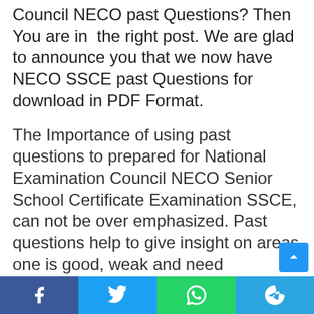Council NECO past Questions? Then You are in the right post. We are glad to announce you that we now have NECO SSCE past Questions for download in PDF Format.
The Importance of using past questions to prepared for National Examination Council NECO Senior School Certificate Examination SSCE, can not be over emphasized. Past questions help to give insight on areas one is good, weak and need assistance to perform well. If you want to have a pass with a good grade, it is wise to get hold of NECO past